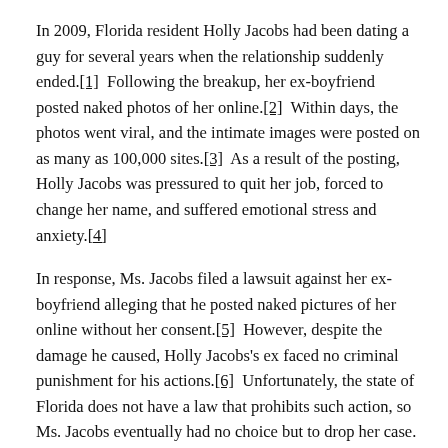In 2009, Florida resident Holly Jacobs had been dating a guy for several years when the relationship suddenly ended.[1]  Following the breakup, her ex-boyfriend posted naked photos of her online.[2]  Within days, the photos went viral, and the intimate images were posted on as many as 100,000 sites.[3]  As a result of the posting, Holly Jacobs was pressured to quit her job, forced to change her name, and suffered emotional stress and anxiety.[4]
In response, Ms. Jacobs filed a lawsuit against her ex-boyfriend alleging that he posted naked pictures of her online without her consent.[5]  However, despite the damage he caused, Holly Jacobs's ex faced no criminal punishment for his actions.[6]  Unfortunately, the state of Florida does not have a law that prohibits such action, so Ms. Jacobs eventually had no choice but to drop her case.[7]